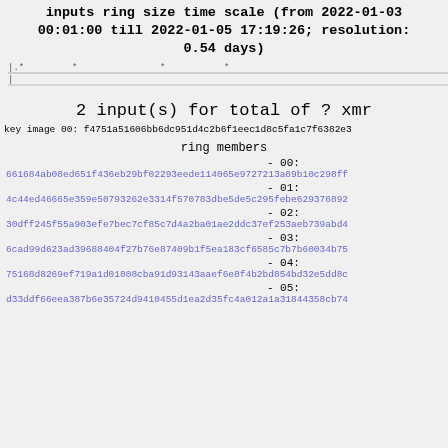inputs ring size time scale (from 2022-01-03 00:01:00 till 2022-01-05 17:19:26; resolution: 0.54 days)
[Figure (continuous-plot): A simple horizontal line chart showing a flat line with dot markers, representing the time scale visualization for ring size inputs.]
2 input(s) for total of ? xmr
key image 00: f4751a51606bb6dc951d4c2b6f1eec1d8c5fa1c7f6382e3...
ring members
- 00:
661684ab08ed651f436eb29bf02293eede114065e9727213a89b10c298ff...
- 01:
4c44ed46665e359e50793262e3314f570783dbe5de5c295febe629376892...
- 02:
30dff245f55a903efe7bec7cf85c7d4a2ba01ae2ddc37ef253aeb739abd4...
- 03:
6cad99d623ad39688404f27b76e87409b1f5ea183cf6585c7b7b60034b75...
- 04:
75168d8269ef719a1d01808cba91d93143aaef6e8f4b2bd854bd32e5dd8c...
- 05:
d33ddf66eea387b6e35724d9410455d1ea2d35fc4a012a1a31844358cb74...